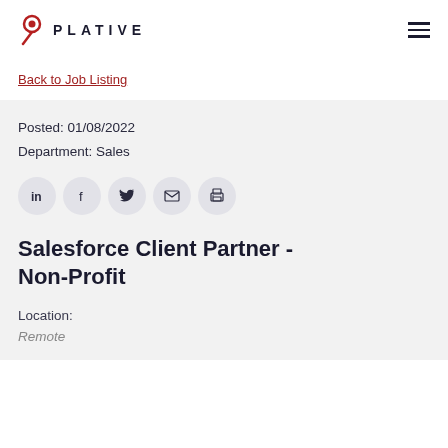Plative
Back to Job Listing
Posted: 01/08/2022
Department: Sales
[Figure (other): Social sharing icons: LinkedIn, Facebook, Twitter, Email, Print]
Salesforce Client Partner - Non-Profit
Location:
Remote